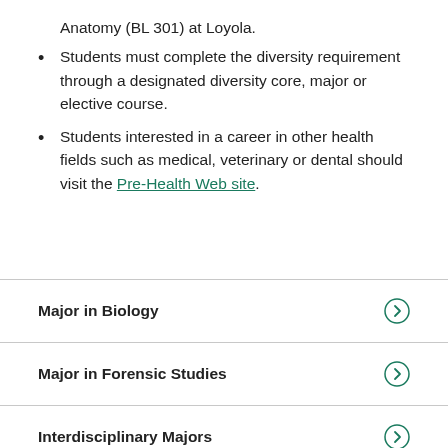Anatomy (BL 301) at Loyola.
Students must complete the diversity requirement through a designated diversity core, major or elective course.
Students interested in a career in other health fields such as medical, veterinary or dental should visit the Pre-Health Web site.
Major in Biology
Major in Forensic Studies
Interdisciplinary Majors